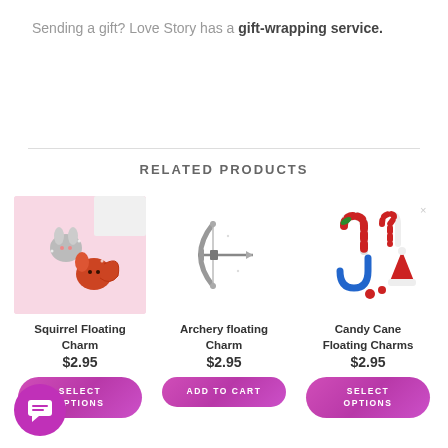Sending a gift? Love Story has a gift-wrapping service.
RELATED PRODUCTS
[Figure (photo): Squirrel Floating Charm product image on pink background]
Squirrel Floating Charm
$2.95
[Figure (photo): Archery floating Charm product image on white background]
Archery floating Charm
$2.95
[Figure (photo): Candy Cane Floating Charms product image on white background]
Candy Cane Floating Charms
$2.95